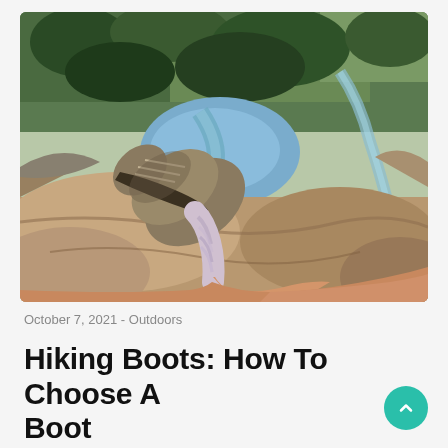[Figure (photo): Person sitting on a rocky cliff edge with hiking boots and striped socks dangling over a dramatic mountain valley with a river and dense forest far below, aerial perspective]
October 7, 2021 - Outdoors
Hiking Boots: How To Choose A Boot